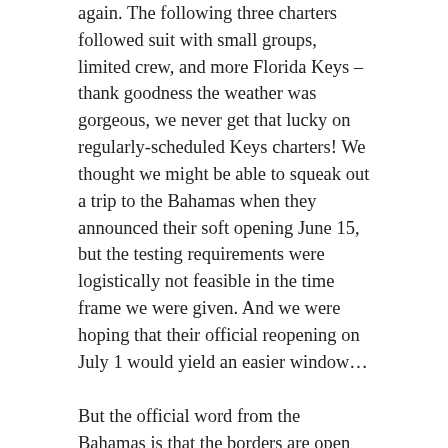again. The following three charters followed suit with small groups, limited crew, and more Florida Keys – thank goodness the weather was gorgeous, we never get that lucky on regularly-scheduled Keys charters! We thought we might be able to squeak out a trip to the Bahamas when they announced their soft opening June 15, but the testing requirements were logistically not feasible in the time frame we were given. And we were hoping that their official reopening on July 1 would yield an easier window…
But the official word from the Bahamas is that the borders are open and they are excited to welcome tourists again, but until further notice, they will be requiring negative COVID tests to enter the country. All travelers are required to have a negative COVID-19 PCR swab test taken within 10 days of travel, and results digitally submitted to the Ministry of Health to obtain a travel visa. We had our first successful Bahamas entry